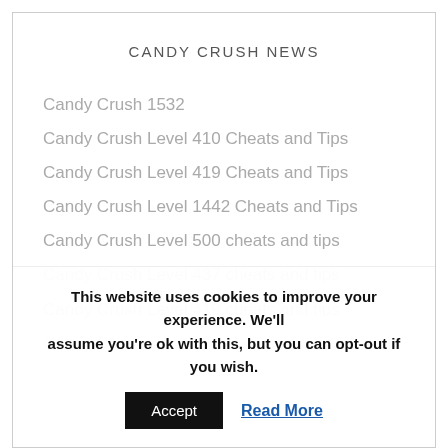CANDY CRUSH NEWS
Candy Crush 1532
Candy Crush Level 410 Cheats and Tips
Candy Crush Level 419 Cheats and Tips
Candy Crush Level 1442 Cheats and Tips
Candy Crush Level 500 cheats and tips
Candy Crush Level 437 cheats and tips
Candy Crush Level 419 cheats and tips
Candy Crush Level 126 cheats and tips
This website uses cookies to improve your experience. We'll assume you're ok with this, but you can opt-out if you wish.
Accept | Read More